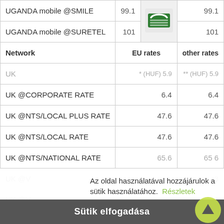| Network | EU rates * (HUF) | other rates ** (HUF) |
| --- | --- | --- |
| UGANDA mobile @SMILE | 99.1 | 99.1 |
| UGANDA mobile @SURETEL | 101 | 101 |
| UK |  |  |
| UK @CORPORATE RATE | 6.4 | 6.4 |
| UK @NTS/LOCAL PLUS RATE | 47.6 | 47.6 |
| UK @NTS/LOCAL RATE | 47.6 | 47.6 |
| UK @NTS/NATIONAL RATE | 65.6 | 65.6 |
| UK @... |  | 3 |
| UK @... |  | 9 |
| UK mo... |  | 5 |
| UK mo... |  | 9 |
Az oldal használatával hozzájárulok a sütik használatához.  Részletek
Sütik elfogadása